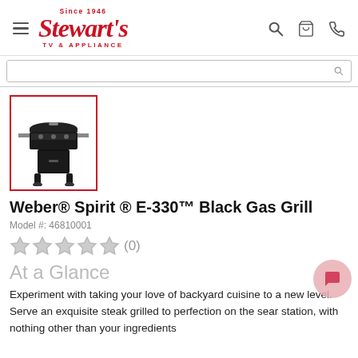Stewart's TV & Appliance — Since 1946
[Figure (photo): Weber Spirit E-330 Black Gas Grill product thumbnail image, with red border]
Weber® Spirit ® E-330™ Black Gas Grill
Model #: 46810001
★★★★★ (0)
At a Glance
Experiment with taking your love of backyard cuisine to a new level. Serve an exquisite steak grilled to perfection on the sear station, with nothing other than your ingredients...